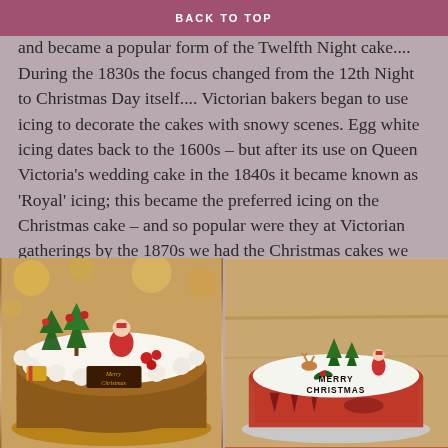BACK TO TOP
Originally it was eaten on the 5th of January – 'Epiphany' and became a popular form of the Twelfth Night cake.... During the 1830s the focus changed from the 12th Night to Christmas Day itself.... Victorian bakers began to use icing to decorate the cakes with snowy scenes. Egg white icing dates back to the 1600s – but after its use on Queen Victoria's wedding cake in the 1840s it became known as 'Royal' icing; this became the preferred icing on the Christmas cake – and so popular were they at Victorian gatherings by the 1870s we had the Christmas cakes we are familiar with today....
[Figure (photo): Two Christmas cakes side by side. Left: a white frosted Christmas cake decorated with Santa figurine, Christmas trees, red berries, and a 'Merry Christmas' chocolate sign with cream rosettes. Right: a round cake with white fondant top decorated with 'Merry Christmas' text, small figurines of a reindeer, Christmas trees and Santa, with a red Christmas scene band around the sides.]